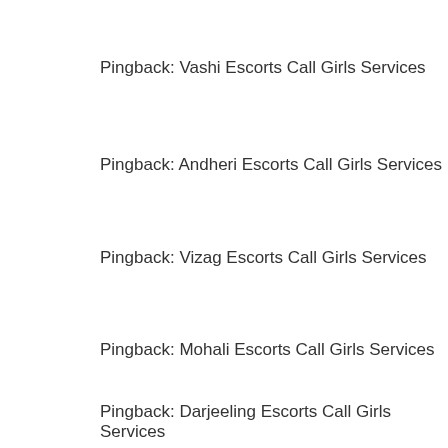Pingback: Vashi Escorts Call Girls Services
Pingback: Andheri Escorts Call Girls Services
Pingback: Vizag Escorts Call Girls Services
Pingback: Mohali Escorts Call Girls Services
Pingback: Darjeeling Escorts Call Girls Services